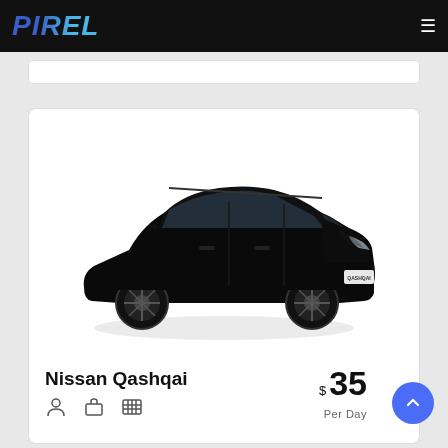PIREL
[Figure (photo): Black Nissan Qashqai SUV on white background, three-quarter front view, with 'QASHQAI' badge visible on front grille]
Nissan Qashqai
$ 35 Per Day